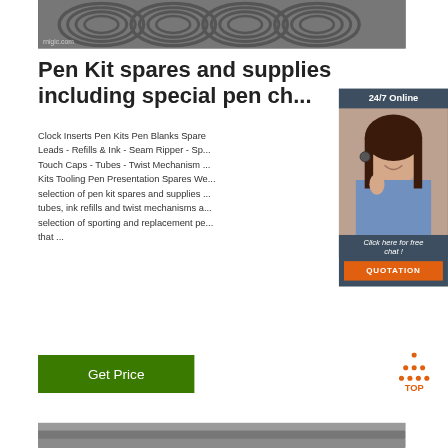[Figure (photo): Photo of metal wire coils/rolls stacked outdoors, with a watermark 'rnigic.com' at bottom left]
Pen Kit spares and supplies including special pen ch...
Clock Inserts Pen Kits Pen Blanks Spare Leads - Refills & Ink - Seam Ripper - Sp... Touch Caps - Tubes - Twist Mechanism ... Kits Tooling Pen Presentation Spares We... selection of pen kit spares and supplies ... tubes, ink refills and twist mechanisms a... selection of sporting and replacement pe... that ...
[Figure (photo): Customer service representative woman wearing headset with 24/7 Online chat widget overlay showing 'Click here for free chat!' and QUOTATION button]
[Figure (illustration): Orange TOP logo with triangular arrow pointing up above the word TOP]
[Figure (photo): Photo of metal rods/pipes stacked together at the bottom of the page]
Get Price